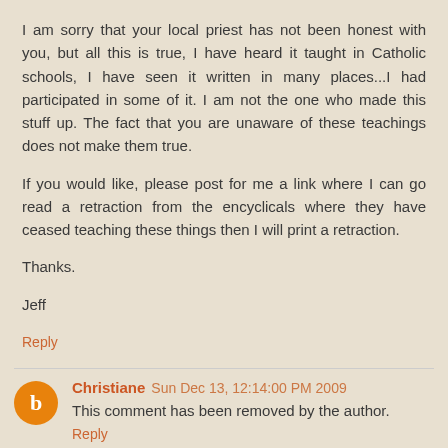I am sorry that your local priest has not been honest with you, but all this is true, I have heard it taught in Catholic schools, I have seen it written in many places...I had participated in some of it. I am not the one who made this stuff up. The fact that you are unaware of these teachings does not make them true.

If you would like, please post for me a link where I can go read a retraction from the encyclicals where they have ceased teaching these things then I will print a retraction.

Thanks.

Jeff
Reply
Christiane  Sun Dec 13, 12:14:00 PM 2009
This comment has been removed by the author.
Reply